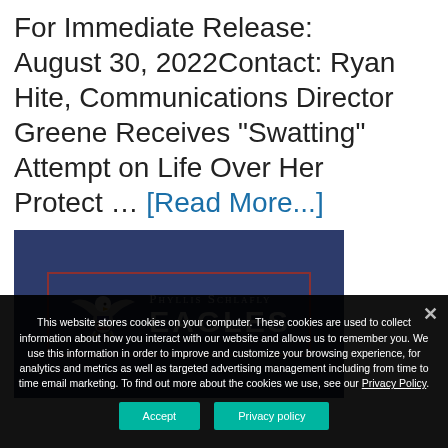For Immediate Release: August 30, 2022Contact: Ryan Hite, Communications Director Greene Receives "Swatting" Attempt on Life Over Her Protect … [Read More...]
[Figure (logo): Phyllis Schlafly Eagles logo on dark navy blue background with eagle illustration and red border frame]
This website stores cookies on your computer. These cookies are used to collect information about how you interact with our website and allows us to remember you. We use this information in order to improve and customize your browsing experience, for analytics and metrics as well as targeted advertising management including from time to time email marketing. To find out more about the cookies we use, see our Privacy Policy.